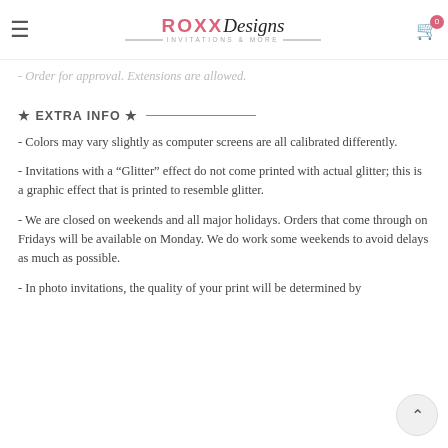ROXX Designs Invitations & More — navigation header with logo and cart icon
- Order for approval. Extensions are allowed.
★ EXTRA INFO ★
- Colors may vary slightly as computer screens are all calibrated differently.
- Invitations with a "Glitter" effect do not come printed with actual glitter; this is a graphic effect that is printed to resemble glitter.
- We are closed on weekends and all major holidays. Orders that come through on Fridays will be available on Monday. We do work some weekends to avoid delays as much as possible.
- In photo invitations, the quality of your print will be determined by